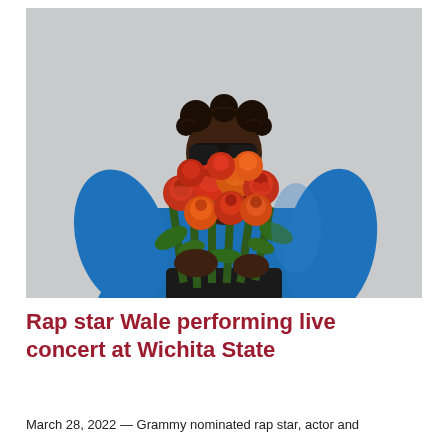[Figure (photo): A person holding a large bouquet of red and orange roses up to their face, wearing a blue satin jacket and dark sunglasses, with braided hair styled in buns, against a light gray background.]
Rap star Wale performing live concert at Wichita State
March 28, 2022 — Grammy nominated rap star, actor and